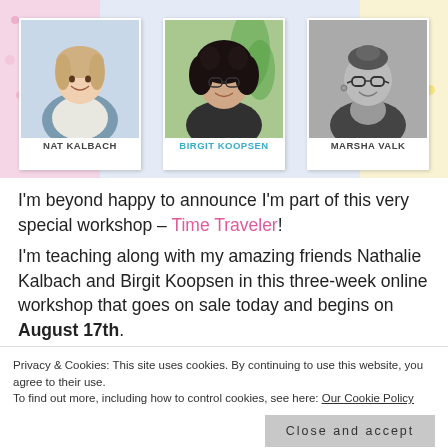[Figure (photo): Workshop banner showing three instructors: Nat Kalbach (woman in apron, color photo), Birgit Koopsen (woman with glasses and curly hair, color photo), and Marsha Valk (woman with glasses, black and white photo). Colorful confetti/dots background in pink and blue.]
I'm beyond happy to announce I'm part of this very special workshop – Time Traveler!
I'm teaching along with my amazing friends Nathalie Kalbach and Birgit Koopsen in this three-week online workshop that goes on sale today and begins on August 17th.
Privacy & Cookies: This site uses cookies. By continuing to use this website, you agree to their use.
To find out more, including how to control cookies, see here: Our Cookie Policy